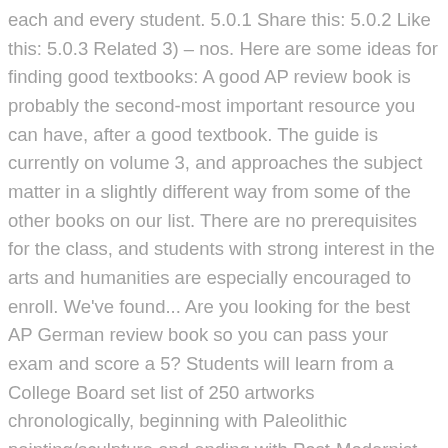each and every student. 5.0.1 Share this: 5.0.2 Like this: 5.0.3 Related 3) – nos. Here are some ideas for finding good textbooks: A good AP review book is probably the second-most important resource you can have, after a good textbook. The guide is currently on volume 3, and approaches the subject matter in a slightly different way from some of the other books on our list. There are no prerequisites for the class, and students with strong interest in the arts and humanities are especially encouraged to enroll. We've found... Are you looking for the best AP German review book so you can pass your exam and score a 5? Students will learn from a College Board set list of 250 artworks chronologically, beginning with Paleolithic painting/sculpture and ending with Post-Modernist contemporary artists (a number of artworks will be added throughout the year in addition to the set list). AP® Art History (vol. AP® Art History Crash Course Book + Online book. includes flashcards for each of the works in the AP Art History image set. A diagnostic test and two full length practice tests